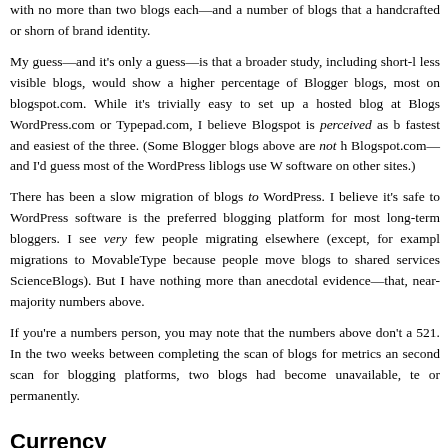with no more than two blogs each—and a number of blogs that are handcrafted or shorn of brand identity.
My guess—and it's only a guess—is that a broader study, including short-lived, less visible blogs, would show a higher percentage of Blogger blogs, most hosted on blogspot.com. While it's trivially easy to set up a hosted blog at Blogspot, WordPress.com or Typepad.com, I believe Blogspot is perceived as being the fastest and easiest of the three. (Some Blogger blogs above are not hosted at Blogspot.com—and I'd guess most of the WordPress liblogs use WordPress software on other sites.)
There has been a slow migration of blogs to WordPress. I believe it's safe to say WordPress software is the preferred blogging platform for most long-term active bloggers. I see very few people migrating elsewhere (except, for example, migrations to MovableType because people move blogs to shared services like ScienceBlogs). But I have nothing more than anecdotal evidence—that, and the near-majority numbers above.
If you're a numbers person, you may note that the numbers above don't add up to 521. In the two weeks between completing the scan of blogs for metrics and doing a second scan for blogging platforms, two blogs had become unavailable, temporarily or permanently.
Currency
How current are liblogs? I used March-May 2009 for metrics—but I recorded the metrics in September 2009. To get a checkpoint, I checked each blog on September 30, 2009, looking for the most recent post (that is, a direct check, not a historical...